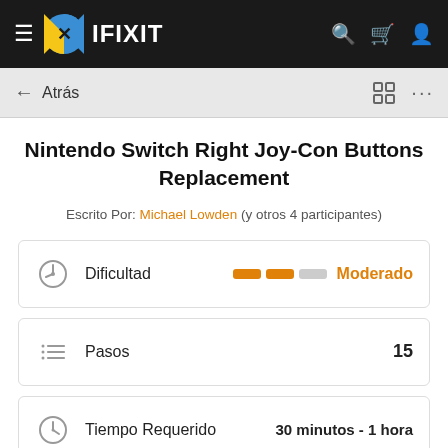IFIXIT
Nintendo Switch Right Joy-Con Buttons Replacement
Escrito Por: Michael Lowden (y otros 4 participantes)
|  | Attribute | Value |
| --- | --- | --- |
| Dificultad |  | Moderado |
| Pasos |  | 15 |
| Tiempo Requerido |  | 30 minutos - 1 hora |